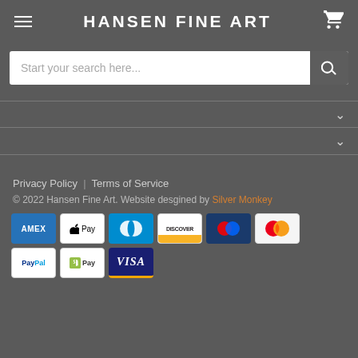HANSEN FINE ART
Start your search here...
Privacy Policy  |  Terms of Service
© 2022 Hansen Fine Art. Website desgined by Silver Monkey
[Figure (infographic): Payment method icons: American Express, Apple Pay, Diners Club, Discover, Meta Pay, Mastercard, PayPal, Shopify Pay, Visa]